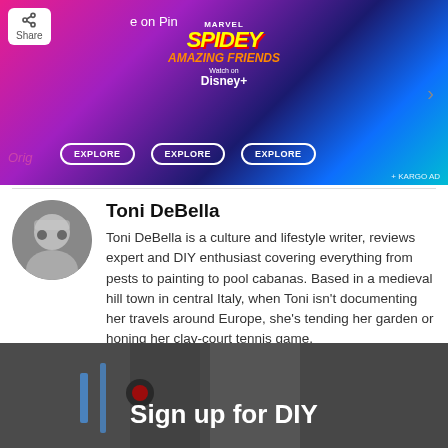[Figure (screenshot): Advertisement banner featuring Marvel Spidey and His Amazing Friends, Watch on Disney+, with three EXPLORE buttons and KARGO AD label. Pink/purple/blue gradient background with cartoon characters.]
Toni DeBella
Toni DeBella is a culture and lifestyle writer, reviews expert and DIY enthusiast covering everything from pests to painting to pool cabanas. Based in a medieval hill town in central Italy, when Toni isn't documenting her travels around Europe, she's tending her garden or honing her clay-court tennis game.
[Figure (photo): Dark overlay image with tools/cables, with bold white text 'Sign up for DIY']